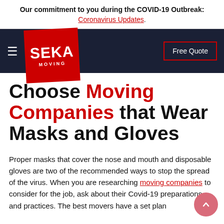Our commitment to you during the COVID-19 Outbreak: Coronavirus Updates.
[Figure (screenshot): SEKA Moving website navigation bar with hamburger menu, SEKA Moving logo on red tilted square, and Free Quote button on dark navy background]
Choose Moving Companies that Wear Masks and Gloves
Proper masks that cover the nose and mouth and disposable gloves are two of the recommended ways to stop the spread of the virus. When you are researching moving companies to consider for the job, ask about their Covid-19 preparations and practices. The best movers have a set plan